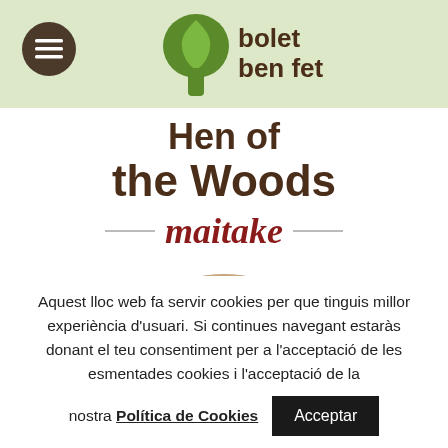bolet ben fet
Hen of the Woods maitake
[Figure (photo): Circular cropped photo of maitake mushrooms on a wooden surface]
Aquest lloc web fa servir cookies per que tinguis millor experiència d'usuari. Si continues navegant estaràs donant el teu consentiment per a l'acceptació de les esmentades cookies i l'acceptació de la nostra Política de Cookies
Acceptar